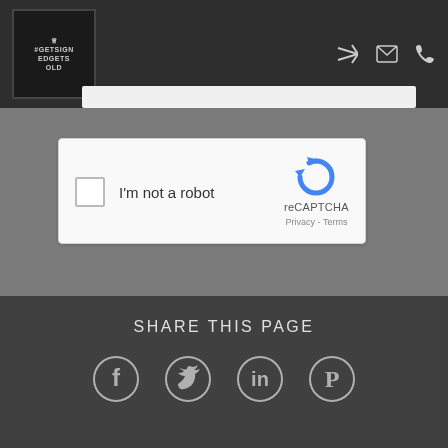[Figure (screenshot): Website header with dark background, logo box labeled #GETSIGNEDGETSOLD with crown icon, and three icons (share, email, phone) on the right side]
[Figure (screenshot): reCAPTCHA widget with checkbox, 'I'm not a robot' text, reCAPTCHA logo, and Privacy/Terms links]
[Figure (screenshot): Blue 'Send Message' button spanning the width of the page]
SHARE THIS PAGE
[Figure (screenshot): Four social media share icons: Facebook, Twitter, LinkedIn, Pinterest]